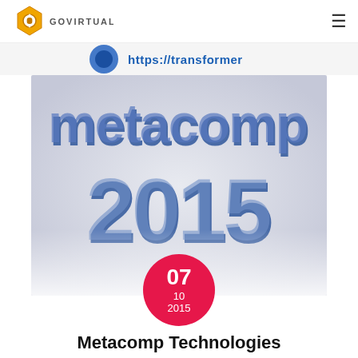GOVIRTUAL (logo) [hamburger menu]
[Figure (screenshot): Partial banner with blue icon and text 'https://transformer' partially visible]
[Figure (logo): Metacomp 2015 conference logo — 3D blue stylized text 'metacomp 2015' with a red circular date badge showing 07 / 10 / 2015]
Metacomp Technologies